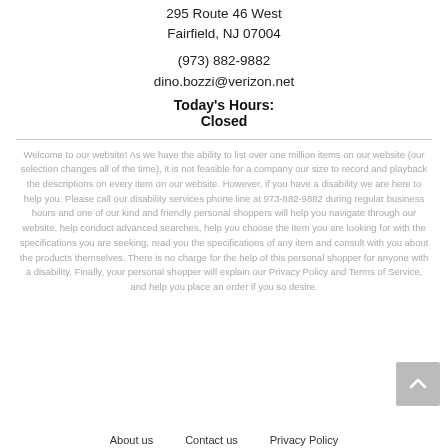295 Route 46 West
Fairfield, NJ 07004
(973) 882-9882
dino.bozzi@verizon.net
Today's Hours:
Closed
Welcome to our website! As we have the ability to list over one million items on our website (our selection changes all of the time), it is not feasible for a company our size to record and playback the descriptions on every item on our website. However, if you have a disability we are here to help you. Please call our disability services phone line at 973-882-9882 during regular business hours and one of our kind and friendly personal shoppers will help you navigate through our website, help conduct advanced searches, help you choose the item you are looking for with the specifications you are seeking, read you the specifications of any item and consult with you about the products themselves. There is no charge for the help of this personal shopper for anyone with a disability. Finally, your personal shopper will explain our Privacy Policy and Terms of Service, and help you place an order if you so desire.
About us   Contact us   Privacy Policy